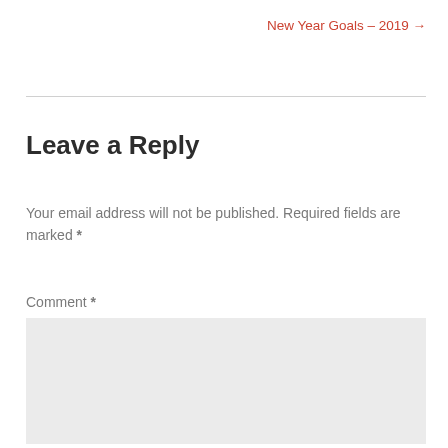New Year Goals – 2019 →
Leave a Reply
Your email address will not be published. Required fields are marked *
Comment *